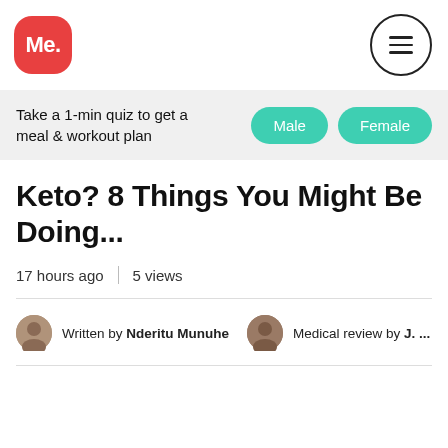Me. [logo] [menu icon]
Take a 1-min quiz to get a meal & workout plan
Keto? 8 Things You Might Be Doing...
17 hours ago | 5 views
Written by Nderitu Munuhe   Medical review by J. ...